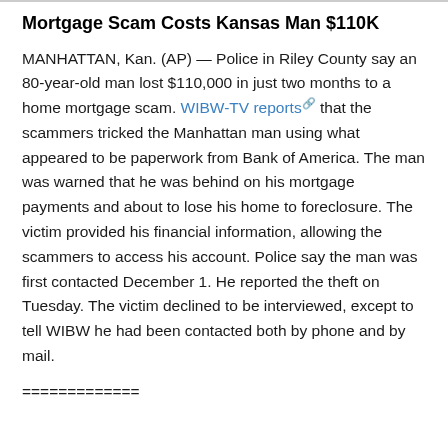Mortgage Scam Costs Kansas Man $110K
MANHATTAN, Kan. (AP) — Police in Riley County say an 80-year-old man lost $110,000 in just two months to a home mortgage scam. WIBW-TV reports that the scammers tricked the Manhattan man using what appeared to be paperwork from Bank of America. The man was warned that he was behind on his mortgage payments and about to lose his home to foreclosure. The victim provided his financial information, allowing the scammers to access his account. Police say the man was first contacted December 1. He reported the theft on Tuesday. The victim declined to be interviewed, except to tell WIBW he had been contacted both by phone and by mail.
=============